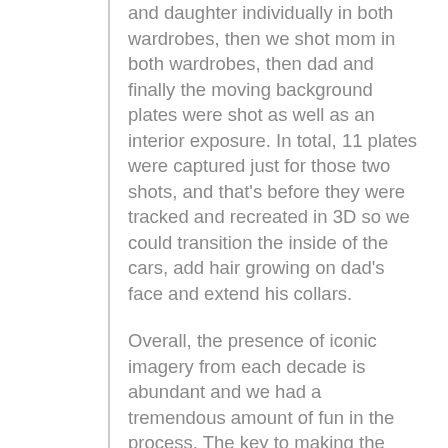and daughter individually in both wardrobes, then we shot mom in both wardrobes, then dad and finally the moving background plates were shot as well as an interior exposure. In total, 11 plates were captured just for those two shots, and that's before they were tracked and recreated in 3D so we could transition the inside of the cars, add hair growing on dad's face and extend his collars.
Overall, the presence of iconic imagery from each decade is abundant and we had a tremendous amount of fun in the process. The key to making the spot enjoyable to watch again and again was filling it with many references – some obvious, some more intricate that you might not even notice on the first viewing. Each time you revisit the spot, you'll find something new. I hope this behind-the-scenes shot breakdown sheds a little light on how we achieved some of the key shots.